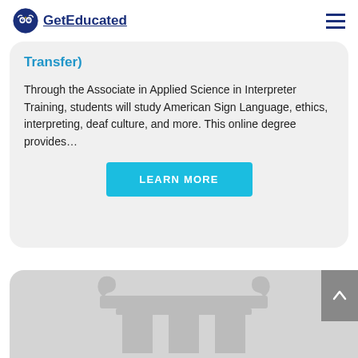GetEducated
Through the Associate in Applied Science in Interpreter Training, students will study American Sign Language, ethics, interpreting, deaf culture, and more. This online degree provides…
LEARN MORE
[Figure (illustration): Greek/Roman ionic column pillar icon in light gray, partially visible at bottom of page]